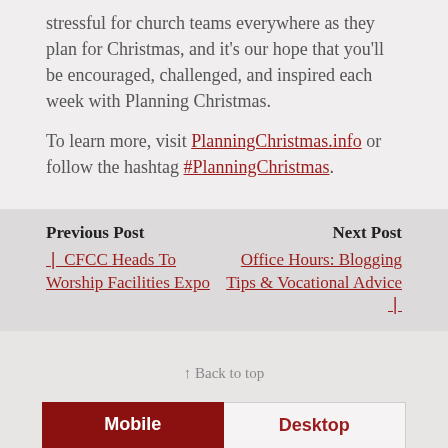stressful for church teams everywhere as they plan for Christmas, and it's our hope that you'll be encouraged, challenged, and inspired each week with Planning Christmas.
To learn more, visit PlanningChristmas.info or follow the hashtag #PlanningChristmas.
Previous Post — CFCC Heads To Worship Facilities Expo | Next Post — Office Hours: Blogging Tips & Vocational Advice
↑ Back to top
Mobile | Desktop